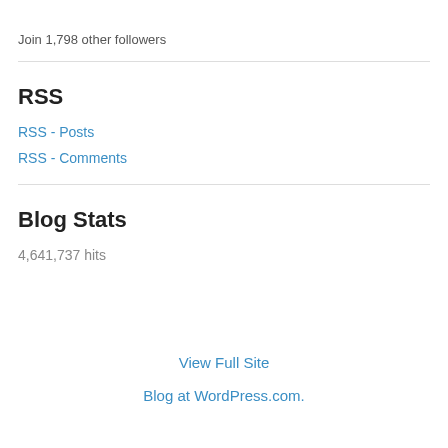Join 1,798 other followers
RSS
RSS - Posts
RSS - Comments
Blog Stats
4,641,737 hits
View Full Site
Blog at WordPress.com.